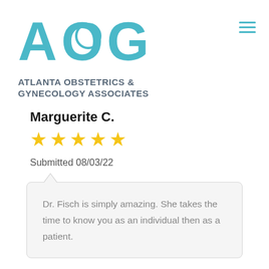[Figure (logo): AOG Atlanta Obstetrics & Gynecology Associates logo with teal lettering]
Marguerite C.
[Figure (other): 5 yellow star rating icons]
Submitted 08/03/22
Dr. Fisch is simply amazing. She takes the time to know you as an individual then as a patient.